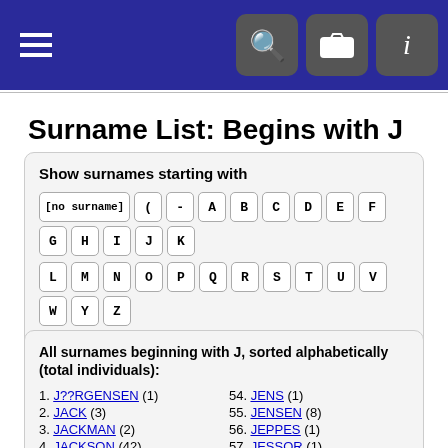Navigation bar with hamburger menu, search, camera, and info icons
Surname List: Begins with J
Show surnames starting with
[no surname] ( - A B C D E F G H I J K L M N O P Q R S T U V W X Y Z
Show all surnames (sorted alphabetically) | Main surname page
All surnames beginning with J, sorted alphabetically (total individuals):
1. J??RGENSEN (1)
2. JACK (3)
3. JACKMAN (2)
4. JACKSON (42)
54. JENS (1)
55. JENSEN (8)
56. JEPPES (1)
57. JESSOR (1)